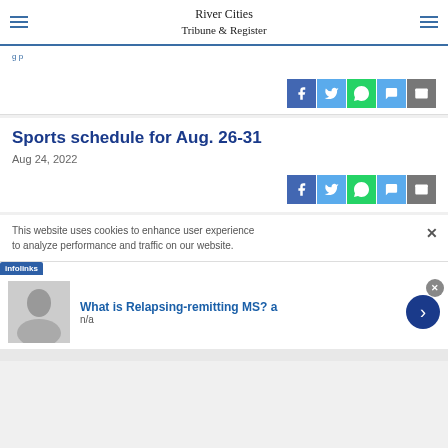River Cities Tribune & Register
Sports schedule for Aug. 26-31
Aug 24, 2022
[Figure (other): Social share buttons: Facebook, Twitter, WhatsApp, Message, Email]
This website uses cookies to enhance user experience to analyze performance and traffic on our website.
What is Relapsing-remitting MS? a
n/a